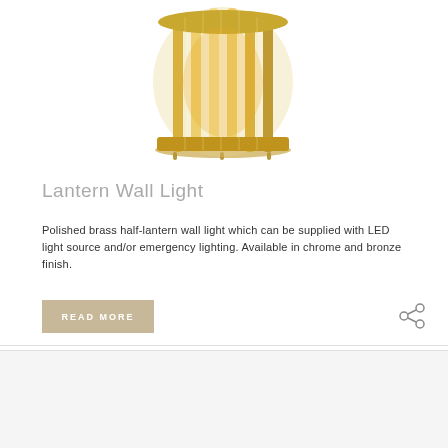[Figure (photo): Polished brass half-lantern wall light with gold cylindrical body and decorative feet, photographed against white background]
Lantern Wall Light
Polished brass half-lantern wall light which can be supplied with LED light source and/or emergency lighting. Available in chrome and bronze finish.
READ MORE
[Figure (photo): Bottom portion of another light fixture product, showing gold/brass angular top with white cylindrical body and dark base, partially visible]